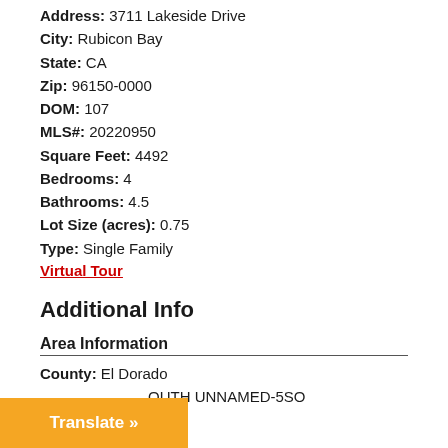Address: 3711 Lakeside Drive
City: Rubicon Bay
State: CA
Zip: 96150-0000
DOM: 107
MLS#: 20220950
Square Feet: 4492
Bedrooms: 4
Bathrooms: 4.5
Lot Size (acres): 0.75
Type: Single Family
Virtual Tour
Additional Info
Area Information
County: El Dorado
OUTH UNNAMED-5SO
Translate »